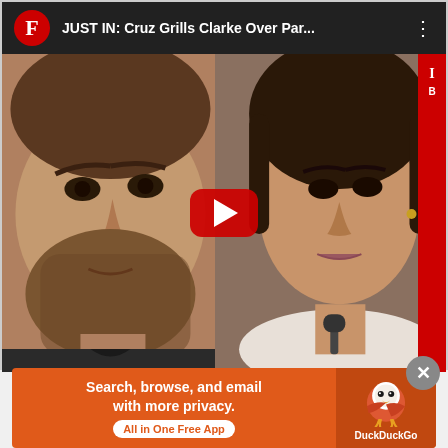[Figure (screenshot): YouTube video player thumbnail showing 'JUST IN: Cruz Grills Clarke Over Par...' with two people's faces side by side — a bearded white man on the left and a Black woman on the right — with a red play button overlay. The video appears to be from a Fox News or similar channel (red F logo).]
[Figure (screenshot): DuckDuckGo advertisement banner with orange background: 'Search, browse, and email with more privacy. All in One Free App' with DuckDuckGo duck logo.]